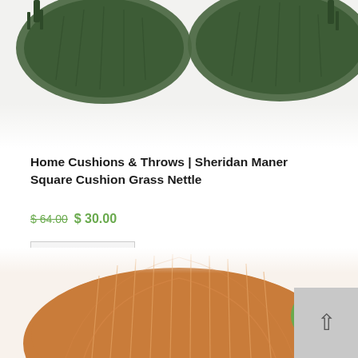[Figure (photo): Green Sheridan Maner Square Cushion product photo, partially visible at the top of the page]
Home Cushions & Throws | Sheridan Maner Square Cushion Grass Nettle
$ 64.00 $ 30.00
Add to cart
Sale!
[Figure (photo): Orange/terracotta woven cushion product photo, partially visible at the bottom of the page]